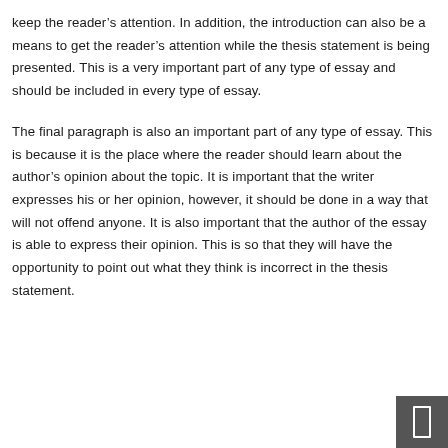keep the reader's attention. In addition, the introduction can also be a means to get the reader's attention while the thesis statement is being presented. This is a very important part of any type of essay and should be included in every type of essay.
The final paragraph is also an important part of any type of essay. This is because it is the place where the reader should learn about the author's opinion about the topic. It is important that the writer expresses his or her opinion, however, it should be done in a way that will not offend anyone. It is also important that the author of the essay is able to express their opinion. This is so that they will have the opportunity to point out what they think is incorrect in the thesis statement.